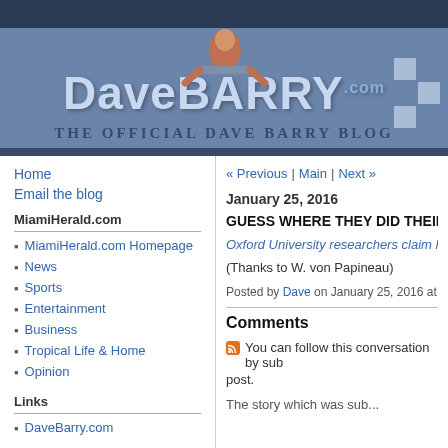[Figure (illustration): DaveBarry.com website header banner with logo text 'DaveBARRY.com', subtitle 'The Official Dave Barry Blog', figure of a man leaning over, and decorative checkerboard pattern]
« Previous | Main | Next »
January 25, 2016
GUESS WHERE THEY DID THEIR RES...
Oxford University researchers claim havi...
(Thanks to W. von Papineau)
Posted by Dave on January 25, 2016 at 03:51 PM...
Comments
You can follow this conversation by subscribing to the comment feed for this post.
Home
Email the blog
MiamiHerald.com
MiamiHerald.com Homepage
News
Sports
Entertainment
Business
Tropical Life & Home
Opinion
Links
DaveBarry.com